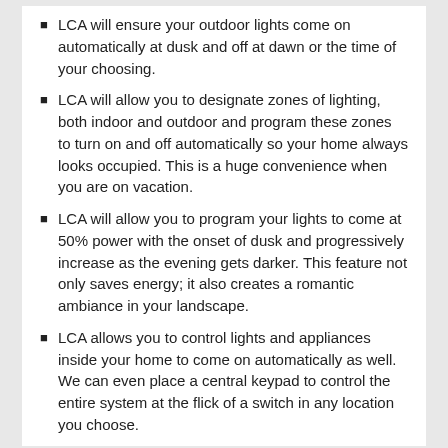LCA will ensure your outdoor lights come on automatically at dusk and off at dawn or the time of your choosing.
LCA will allow you to designate zones of lighting, both indoor and outdoor and program these zones to turn on and off automatically so your home always looks occupied. This is a huge convenience when you are on vacation.
LCA will allow you to program your lights to come at 50% power with the onset of dusk and progressively increase as the evening gets darker. This feature not only saves energy; it also creates a romantic ambiance in your landscape.
LCA allows you to control lights and appliances inside your home to come on automatically as well. We can even place a central keypad to control the entire system at the flick of a switch in any location you choose.
LCA can be programmed to gain control from your laptop or even your smart phone. This feature allows